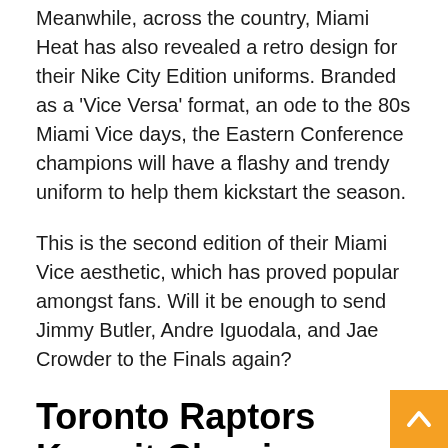Meanwhile, across the country, Miami Heat has also revealed a retro design for their Nike City Edition uniforms. Branded as a 'Vice Versa' format, an ode to the 80s Miami Vice days, the Eastern Conference champions will have a flashy and trendy uniform to help them kickstart the season.
This is the second edition of their Miami Vice aesthetic, which has proved popular amongst fans. Will it be enough to send Jimmy Butler, Andre Iguodala, and Jae Crowder to the Finals again?
Toronto Raptors Keep it Classic
Much like the Atlanta Hawks, the Raptors have kept a minimalist design for their 2020-21 uniforms. Ev the team's colors of red, white, and black, closely